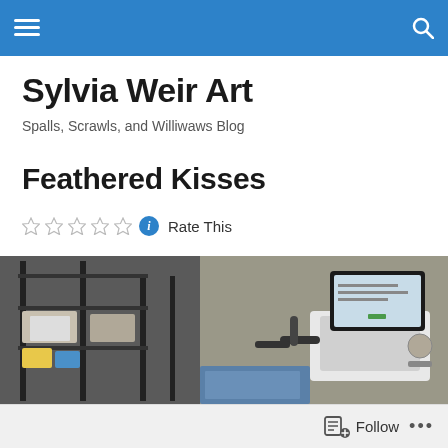Navigation bar with menu icon and search icon
Sylvia Weir Art
Spalls, Scrawls, and Williwaws Blog
Feathered Kisses
☆☆☆☆☆ ℹ Rate This
[Figure (photo): A room with a metal shelving rack holding fabric and supplies on the left, and a long-arm quilting machine on the right with a digital screen mounted on top.]
Follow ...